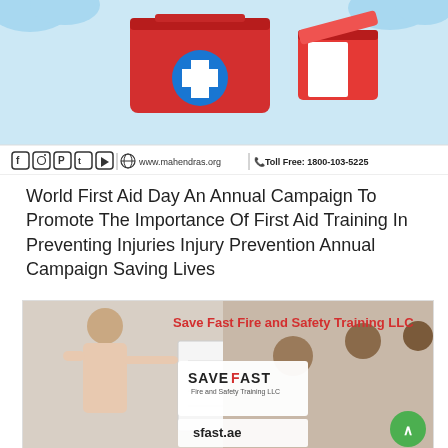[Figure (illustration): First aid kit illustration on light blue background with social media icons bar showing Facebook, Instagram, Pinterest, Twitter, YouTube icons, website www.mahendras.org and Toll Free: 1800-103-5225]
World First Aid Day An Annual Campaign To Promote The Importance Of First Aid Training In Preventing Injuries Injury Prevention Annual Campaign Saving Lives
[Figure (photo): Save Fast Fire and Safety Training LLC promotional image showing a woman presenting at a whiteboard with students watching, with the SaveFast logo and sfast.ae text]